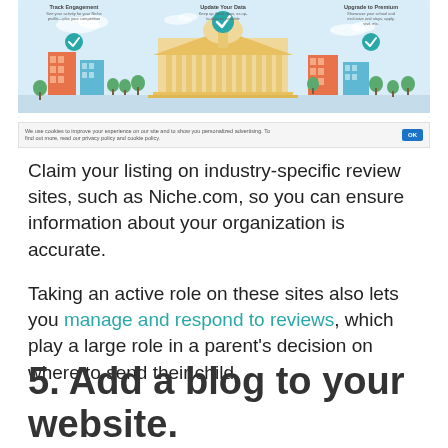[Figure (screenshot): Screenshot of a school/organization listing platform (resembling Niche.com) showing a city/campus illustration with buildings and check marks, and column headers: Track Engagement, Update Your Data, Upgrade to Premium. Below is a cookie consent bar with OK button.]
Claim your listing on industry-specific review sites, such as Niche.com, so you can ensure information about your organization is accurate.
Taking an active role on these sites also lets you manage and respond to reviews, which play a large role in a parent's decision on where to send their child.
5. Add a blog to your website.